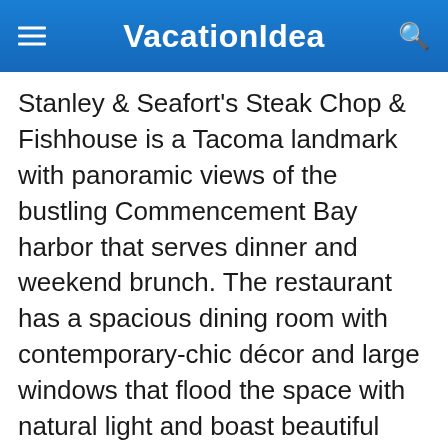VacationIdea
Stanley & Seafort's Steak Chop & Fishhouse is a Tacoma landmark with panoramic views of the bustling Commencement Bay harbor that serves dinner and weekend brunch. The restaurant has a spacious dining room with contemporary-chic décor and large windows that flood the space with natural light and boast beautiful views, making it a perfect spot for a romantic dinner. An open kitchen produces delectable dishes of New American cuisine prepared with fresh locally sourced ingredients such as housemade lobster